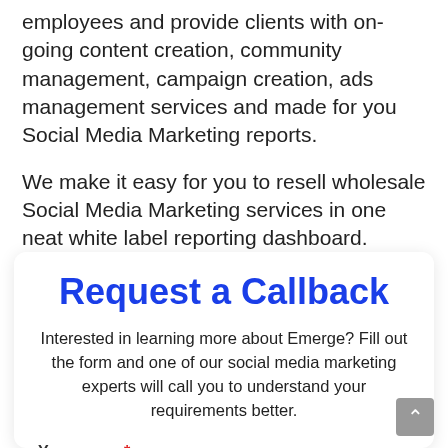employees and provide clients with on-going content creation, community management, campaign creation, ads management services and made for you Social Media Marketing reports.
We make it easy for you to resell wholesale Social Media Marketing services in one neat white label reporting dashboard.
Request a Callback
Interested in learning more about Emerge? Fill out the form and one of our social media marketing experts will call you to understand your requirements better.
Your name *